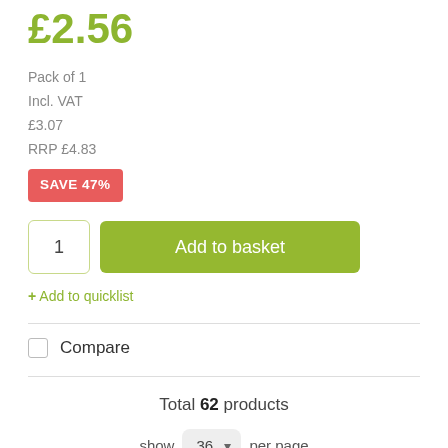£2.56
Pack of 1
Incl. VAT
£3.07
RRP £4.83
SAVE 47%
1  Add to basket
+ Add to quicklist
Compare
Total 62 products
show 36 per page
1  2  next >